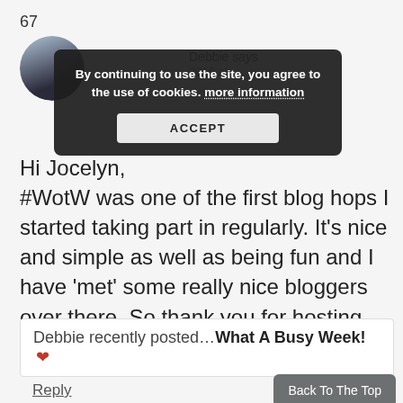67
[Figure (other): Cookie consent overlay on a blog comment page. Dark semi-transparent modal reads: 'By continuing to use the site, you agree to the use of cookies. more information' with an ACCEPT button. Behind it, a circular avatar (profile photo) and partial commenter name 'Debbie says' with '2016 at' visible.]
Hi Jocelyn, #WotW was one of the first blog hops I started taking part in regularly. It's nice and simple as well as being fun and I have 'met' some really nice bloggers over there. So thank you for hosting. xx
Debbie recently posted…What A Busy Week! ♥
Reply
Back To The Top